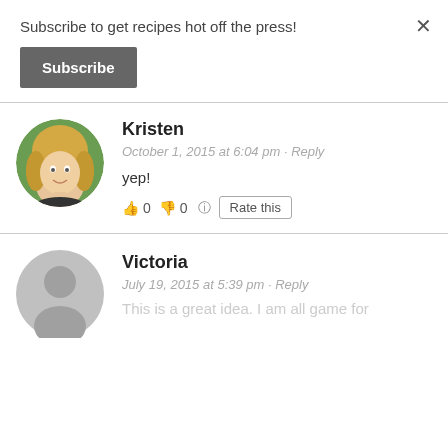Subscribe to get recipes hot off the press!
Subscribe
×
[Figure (photo): Circular avatar photo of Kristen, a blonde woman smiling outdoors]
Kristen
October 1, 2015 at 6:04 pm · Reply
yep!
👍 0 👎 0 ⓘ Rate this
[Figure (illustration): Generic grey circular avatar placeholder for Victoria]
Victoria
July 19, 2015 at 5:39 pm · Reply
This is a great idea. I am all game for